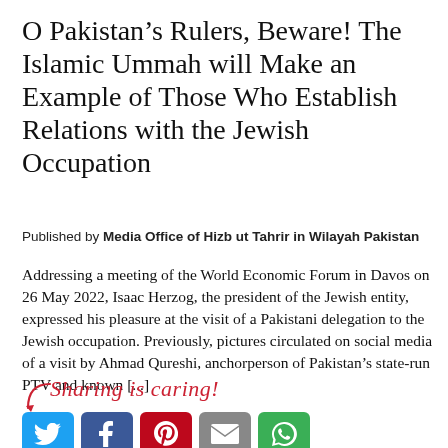O Pakistan's Rulers, Beware! The Islamic Ummah will Make an Example of Those Who Establish Relations with the Jewish Occupation
Published by Media Office of Hizb ut Tahrir in Wilayah Pakistan
Addressing a meeting of the World Economic Forum in Davos on 26 May 2022, Isaac Herzog, the president of the Jewish entity, expressed his pleasure at the visit of a Pakistani delegation to the Jewish occupation. Previously, pictures circulated on social media of a visit by Ahmad Qureshi, anchorperson of Pakistan's state-run PTV and known [...]
[Figure (infographic): Sharing is caring! social media sharing buttons: Twitter (blue), Facebook (dark blue), Pinterest (red), Email (grey), Share (green), with a red cursive label and a red curved arrow.]